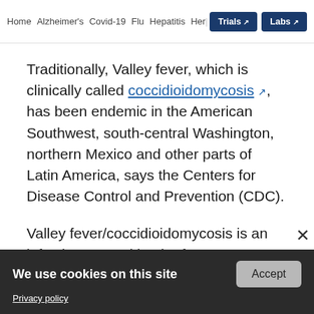Home  Alzheimer's  Covid-19  Flu  Hepatitis  Her...  Trials  Labs
Traditionally, Valley fever, which is clinically called coccidioidomycosis, has been endemic in the American Southwest, south-central Washington, northern Mexico and other parts of Latin America, says the Centers for Disease Control and Prevention (CDC).
Valley fever/coccidioidomycosis is an infection caused by the fungus Coccidioides. The fungus is
ADVERTISEMENT
We use cookies on this site
Privacy policy